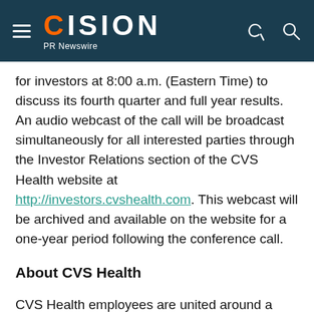CISION PR Newswire
for investors at 8:00 a.m. (Eastern Time) to discuss its fourth quarter and full year results. An audio webcast of the call will be broadcast simultaneously for all interested parties through the Investor Relations section of the CVS Health website at http://investors.cvshealth.com. This webcast will be archived and available on the website for a one-year period following the conference call.
About CVS Health
CVS Health employees are united around a common goal of becoming the most consumer-centric health